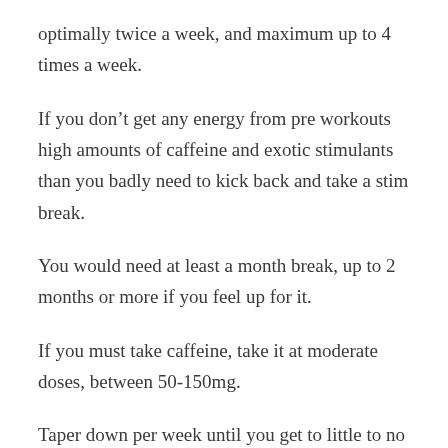optimally twice a week, and maximum up to 4 times a week.
If you don’t get any energy from pre workouts high amounts of caffeine and exotic stimulants than you badly need to kick back and take a stim break.
You would need at least a month break, up to 2 months or more if you feel up for it.
If you must take caffeine, take it at moderate doses, between 50-150mg.
Taper down per week until you get to little to no caffeine.